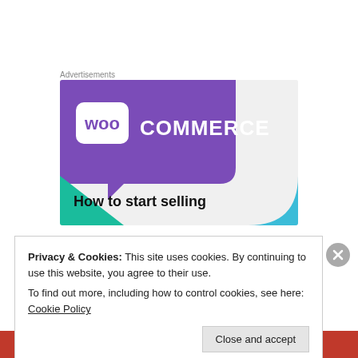Advertisements
[Figure (illustration): WooCommerce advertisement banner showing purple speech-bubble logo with 'WooCommerce' text, teal and blue triangle decorations on gray background, and text 'How to start selling']
Privacy & Cookies: This site uses cookies. By continuing to use this website, you agree to their use. To find out more, including how to control cookies, see here: Cookie Policy
Close and accept